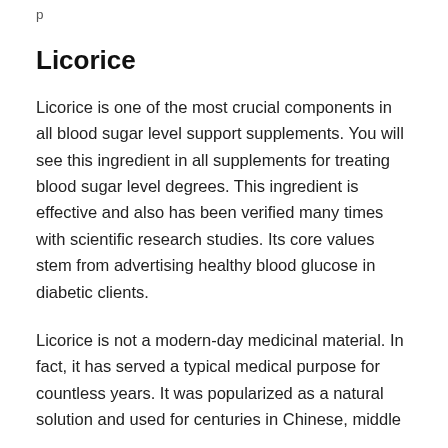…p…
Licorice
Licorice is one of the most crucial components in all blood sugar level support supplements. You will see this ingredient in all supplements for treating blood sugar level degrees. This ingredient is effective and also has been verified many times with scientific research studies. Its core values stem from advertising healthy blood glucose in diabetic clients.
Licorice is not a modern-day medicinal material. In fact, it has served a typical medical purpose for countless years. It was popularized as a natural solution and used for centuries in Chinese, middle